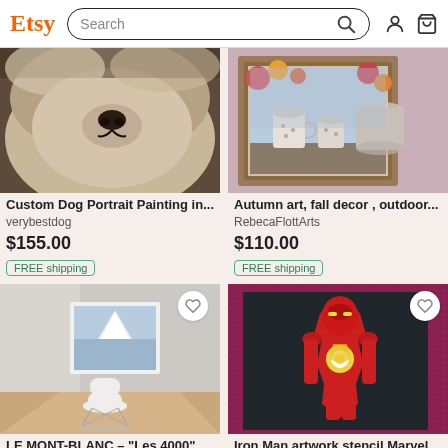Etsy Search
[Figure (photo): Close-up photo of a fluffy white/gray dog face looking at camera]
Custom Dog Portrait Painting in...
verybestdog
$155.00
FREE shipping
[Figure (photo): Autumn art - framed painting of tea cups with fall floral decorations]
Autumn art, fall decor , outdoor...
RebecaFlottArts
$110.00
FREE shipping
[Figure (photo): Minimalist room with white Eames chair and framed mountain art print on wall]
LE MONT-BLANC – "Les 4000"
JulietteVillardShop
[Figure (photo): Iron Man artwork stencil on dark glittery canvas with red and gold design on pink carpet]
Iron Man artwork stencil Marvel
CuXtomShop